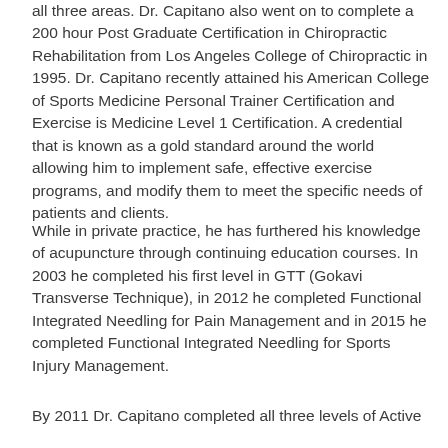all three areas. Dr. Capitano also went on to complete a 200 hour Post Graduate Certification in Chiropractic Rehabilitation from Los Angeles College of Chiropractic in 1995. Dr. Capitano recently attained his American College of Sports Medicine Personal Trainer Certification and Exercise is Medicine Level 1 Certification. A credential that is known as a gold standard around the world allowing him to implement safe, effective exercise programs, and modify them to meet the specific needs of patients and clients.
While in private practice, he has furthered his knowledge of acupuncture through continuing education courses. In 2003 he completed his first level in GTT (Gokavi Transverse Technique), in 2012 he completed Functional Integrated Needling for Pain Management and in 2015 he completed Functional Integrated Needling for Sports Injury Management.
By 2011 Dr. Capitano completed all three levels of Active